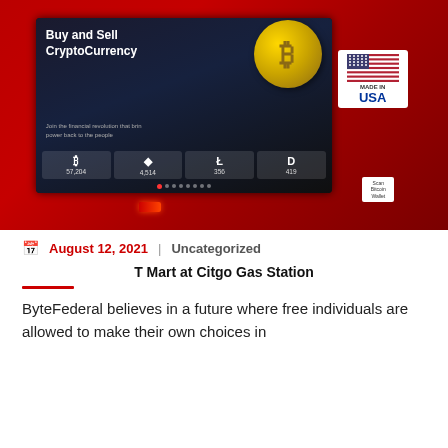[Figure (photo): A red Bitcoin ATM kiosk displaying a screen with 'Buy and Sell CryptoCurrency' and cryptocurrency prices including Bitcoin at 57,204, Ethereum at 4,514, Litecoin at 356, and Dash at 419. A 'Made in USA' sticker with American flag is visible on the right side of the machine.]
August 12, 2021 | Uncategorized
T Mart at Citgo Gas Station
ByteFederal believes in a future where free individuals are allowed to make their own choices in